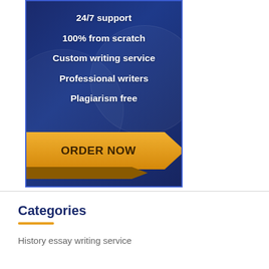[Figure (infographic): Dark blue advertisement banner with white bold text listing services: 24/7 support, 100% from scratch, Custom writing service, Professional writers, Plagiarism free. A yellow 3D arrow-shaped button at the bottom reads ORDER NOW.]
Categories
History essay writing service